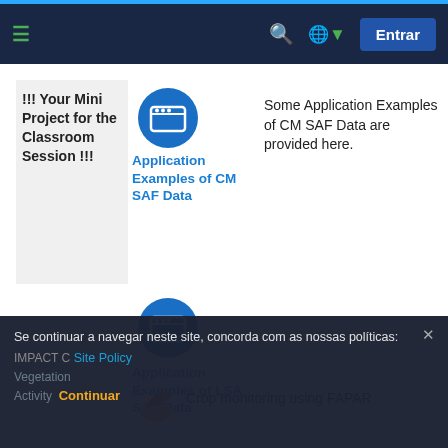≡  [search] [globe] Entrar
!!! Your Mini Project for the Classroom Session !!!
[Figure (illustration): Blue circle icon with a browser/window symbol]
Application Examples of CM SAF Data
Some Application Examples of CM SAF Data are provided here.
[Figure (illustration): Blue circle icon with a browser/window symbol]
Application Examples of LSA SAF Data
[Figure (illustration): Orange/red icon partially visible]
Crop monitoring using FAPAR
Se continuar a navegar neste site, concorda com as nossas políticas:
Site Policy
IMPACT C
Vegetation
Activity
Continuar